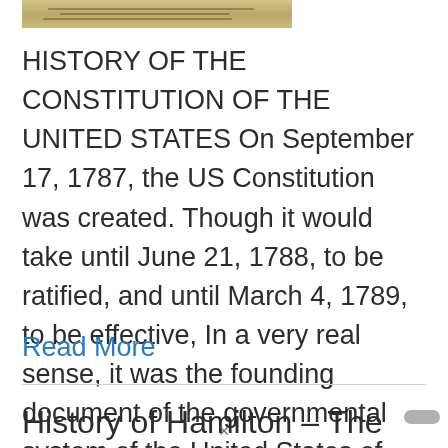[Figure (photo): Partial view of a handwritten historical document, appearing to be parchment with cursive writing, likely the US Constitution]
HISTORY OF THE CONSTITUTION OF THE UNITED STATES On September 17, 1787, the US Constitution was created. Though it would take until June 21, 1788, to be ratified, and until March 4, 1789, to be effective, In a very real sense, it was the founding document of the governmental system of the United States of…
Read More
History of Hamilton – The